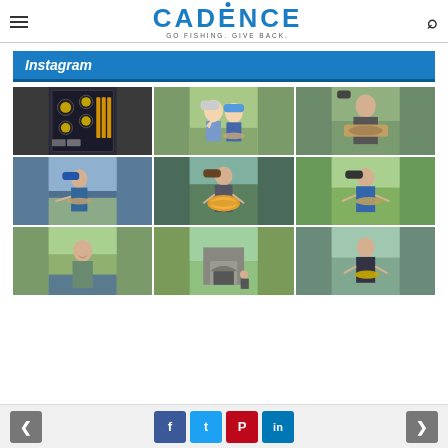Cadence Fishing — GO FISHING. GIVE BACK.
Instagram
[Figure (photo): 3x3 grid of Instagram fishing photos: fishing tackle/equipment in a case, two boys with a fish giving thumbs up, man holding a large fish, man holding a fish by a lake, man holding a large golden carp, man in blue jacket holding a fish, young man outdoors smiling, stone bridge/archway landscape, man in outdoor gear holding a fish]
Navigation arrows and social share buttons: Facebook, Twitter, Pinterest, LinkedIn